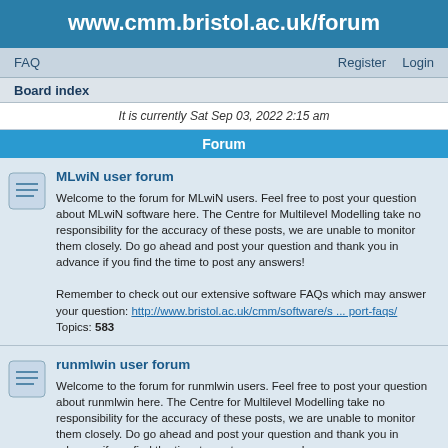www.cmm.bristol.ac.uk/forum
FAQ    Register    Login
Board index
It is currently Sat Sep 03, 2022 2:15 am
Forum
MLwiN user forum
Welcome to the forum for MLwiN users. Feel free to post your question about MLwiN software here. The Centre for Multilevel Modelling take no responsibility for the accuracy of these posts, we are unable to monitor them closely. Do go ahead and post your question and thank you in advance if you find the time to post any answers!

Remember to check out our extensive software FAQs which may answer your question: http://www.bristol.ac.uk/cmm/software/s ... port-faqs/
Topics: 583
runmlwin user forum
Welcome to the forum for runmlwin users. Feel free to post your question about runmlwin here. The Centre for Multilevel Modelling take no responsibility for the accuracy of these posts, we are unable to monitor them closely. Do go ahead and post your question and thank you in advance if you find the time to post any answers!

Go to runmlwin: Running MLwiN from within Stata >> http://www.bristol.ac.uk/cmm/software/runmlwin/
Topics: 463
R2MLwiN user forum